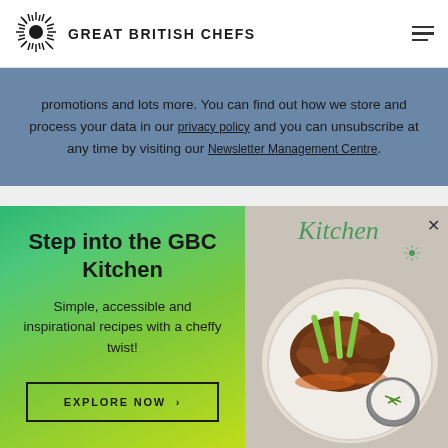GREAT BRITISH CHEFS
promotions and lots more. You can find out how we store and process your data in our privacy policy and you can unsubscribe at any time by visiting our Newsletter Management Centre.
[Figure (illustration): GBC Kitchen advertisement panel with green gradient background on left showing 'Step into the GBC Kitchen' text and 'EXPLORE NOW' button, and photo of chicken wings with dipping sauce on right with 'Kitchen' script logo]
Step into the GBC Kitchen
Simple, accessible and inspirational recipes with a cheffy twist!
EXPLORE NOW >